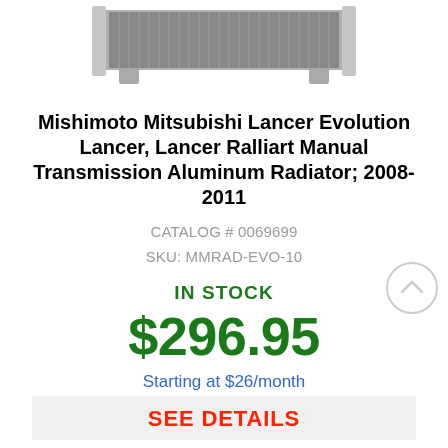[Figure (photo): Partial top view of a Mishimoto aluminum radiator product photo, showing the top portion of the radiator fins and tanks against a white background.]
Mishimoto Mitsubishi Lancer Evolution Lancer, Lancer Ralliart Manual Transmission Aluminum Radiator; 2008-2011
CATALOG # 0069699
SKU: MMRAD-EVO-10
IN STOCK
$296.95
Starting at $26/month with Affirm.
SEE DETAILS